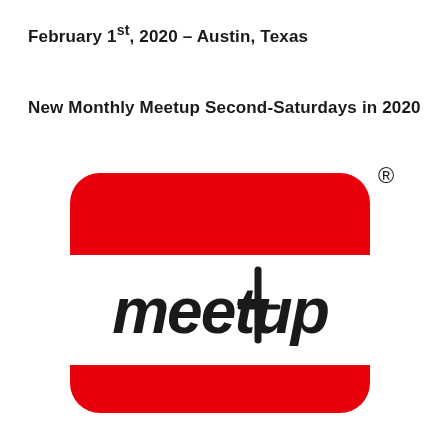February 1st, 2020 – Austin, Texas
New Monthly Meetup Second-Saturdays in 2020
[Figure (logo): Meetup logo: a red rounded rectangle name-tag badge with a white stripe in the middle containing the word 'Meetup' in bold black handwritten-style font, and a registered trademark symbol in the upper right area outside the badge.]